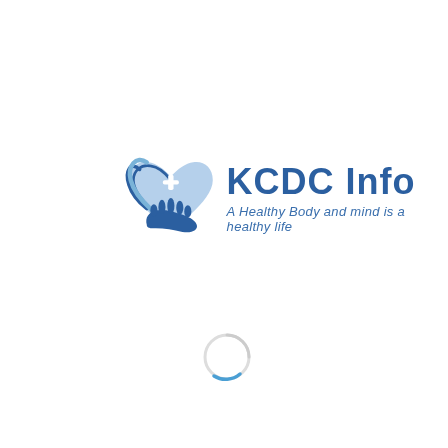[Figure (logo): KCDC Info logo: a heart shape with a medical cross and a hand underneath, in blue tones, alongside the text 'KCDC Info' and tagline 'A Healthy Body and mind is a healthy life']
[Figure (other): A loading spinner circle, partially blue arc on lower right, mostly light gray, indicating a page loading state]